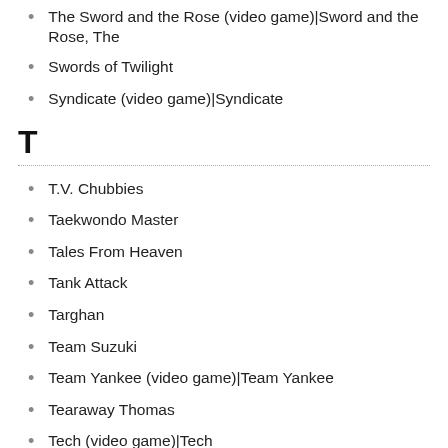The Sword and the Rose (video game)|Sword and the Rose, The
Swords of Twilight
Syndicate (video game)|Syndicate
T
T.V. Chubbies
Taekwondo Master
Tales From Heaven
Tank Attack
Targhan
Team Suzuki
Team Yankee (video game)|Team Yankee
Tearaway Thomas
Tech (video game)|Tech
Techno Cop
TechnoVenture
Teenagent
Teenage Mutant Ninja Turtles (arcade game)|Teenage Mutant Ninja Turtles